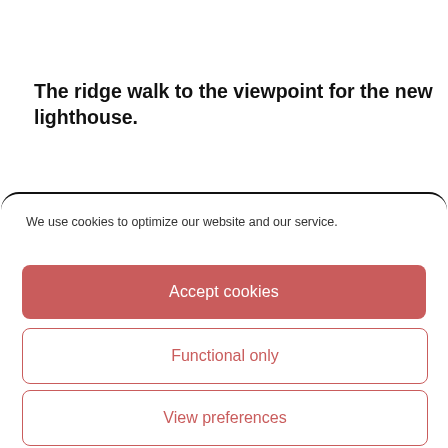The ridge walk to the viewpoint for the new lighthouse.
We use cookies to optimize our website and our service.
Accept cookies
Functional only
View preferences
Cookie Policy   Privacy Policy